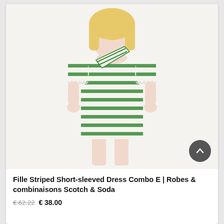[Figure (photo): A young blonde girl wearing a green and white horizontally striped short-sleeved dress with scalloped sleeve edges and a matching striped scarf/accessory draped across the shoulder. Full-length product photo on a light beige background.]
Fille Striped Short-sleeved Dress Combo E | Robes & combinaisons Scotch & Soda
€ 62.22 € 38.00